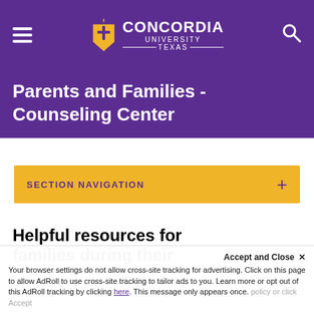Concordia University Texas — navigation header with hamburger menu and search icon
Parents and Families - Counseling Center
SECTION NAVIGATION
Helpful resources for families during their
Accept and Close ✕ Your browser settings do not allow cross-site tracking for advertising. Click on this page to allow AdRoll to use cross-site tracking to tailor ads to you. Learn more or opt out of this AdRoll tracking by clicking here. This message only appears once.